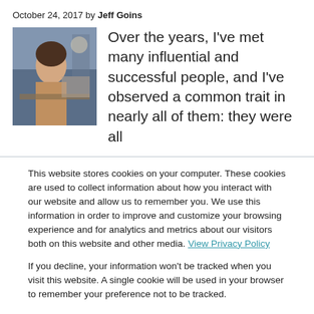October 24, 2017 by Jeff Goins
[Figure (photo): A woman working at a desk or workshop, looking at materials, in a blue-toned studio environment.]
Over the years, I've met many influential and successful people, and I've observed a common trait in nearly all of them: they were all
This website stores cookies on your computer. These cookies are used to collect information about how you interact with our website and allow us to remember you. We use this information in order to improve and customize your browsing experience and for analytics and metrics about our visitors both on this website and other media. View Privacy Policy
If you decline, your information won't be tracked when you visit this website. A single cookie will be used in your browser to remember your preference not to be tracked.